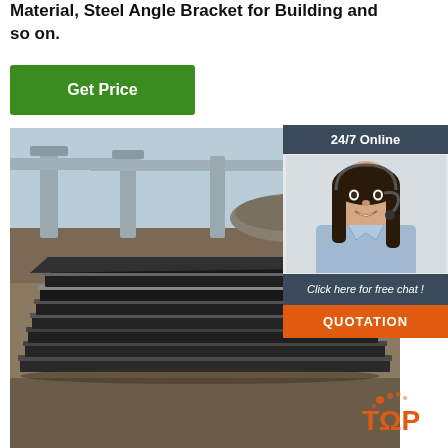Material, Steel Angle Bracket for Building and so on.
Get Price
24/7 Online
[Figure (photo): Stack of steel flat plates/sheets outdoors with bridge structure in background]
Click here for free chat !
QUOTATION
[Figure (logo): TOP logo with orange dots]